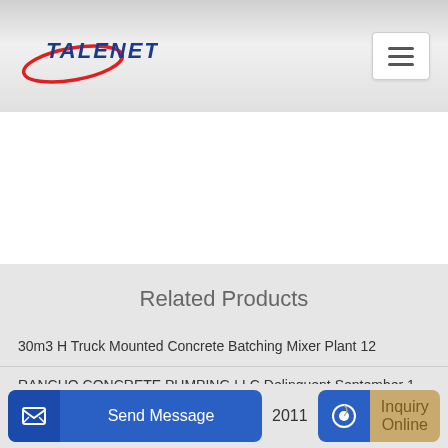[Figure (logo): TALENET company logo with blue bold italic text and red oval swoosh graphic]
Related Products
30m3 H Truck Mounted Concrete Batching Mixer Plant 12
RANCHO CONCRETE PUMPING LLC Delinquent September 1 2011
Send Message
Inquiry Online